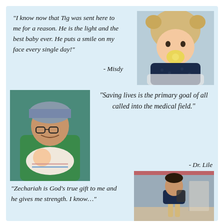[Figure (photo): Photo of a baby wearing a knit animal hat with a yellow pacifier, dressed in a dark outfit]
“I know now that Tig was sent here to me for a reason. He is the light and the best baby ever. He puts a smile on my face every single day!”
- Misdy
[Figure (photo): Photo of a doctor in green scrubs and surgical cap holding a newborn baby]
“Saving lives is the primary goal of all called into the medical field.”
- Dr. Lile
[Figure (photo): Photo of a young boy standing outside in school uniform with a backpack]
“Zechariah is God’s true gift to me and he gives me [text continues below]”